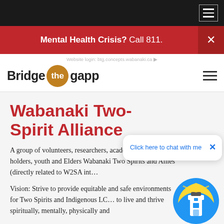Mental Health Crisis? Call 811.
[Figure (logo): Bridge the gapp logo with golden circle containing 'the']
Wabanaki Two-Spirit Alliance
A group of volunteers, researchers, academics, knowledge holders, youth and Elders Wabanaki Two Spirits and Allies (directly related to W2SA int…
Vision: Strive to provide equitable and safe environments for Two Spirits and Indigenous LC… to live and thrive spiritually, mentally, physically and